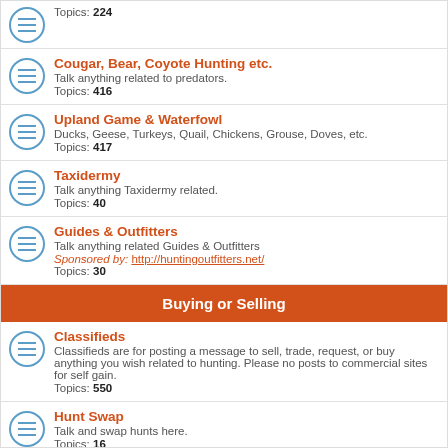Topics: 224
Cougar, Bear, Coyote Hunting etc. — Talk anything related to predators. Topics: 416
Upland Game & Waterfowl — Ducks, Geese, Turkeys, Quail, Chickens, Grouse, Doves, etc. Topics: 417
Taxidermy — Talk anything Taxidermy related. Topics: 40
Guides & Outfitters — Talk anything related Guides & Outfitters. Sponsored by: http://huntingoutfitters.net/ Topics: 30
Buying or Selling
Classifieds — Classifieds are for posting a message to sell, trade, request, or buy anything you wish related to hunting. Please no posts to commercial sites for self gain. Topics: 550
Hunt Swap — Talk and swap hunts here. Topics: 16
LOGIN • REGISTER
Username: